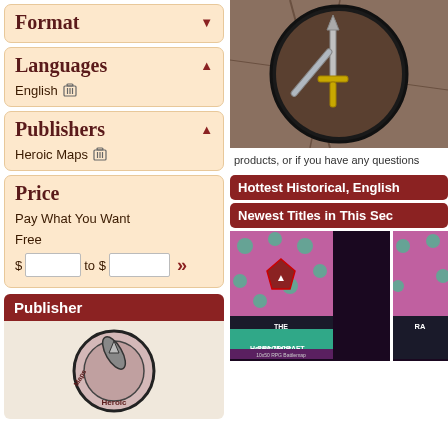Format
Languages
English
Publishers
Heroic Maps
Price
Pay What You Want
Free
$ [input] to $ [input] >>
Publisher
[Figure (logo): Heroic Maps circular logo with rocket/sword illustration]
[Figure (illustration): Fantasy weapon/dagger circular badge on cracked stone background]
products, or if you have any questions
Hottest Historical, English
Newest Titles in This Sec
[Figure (illustration): The Rabbit's Foot Casino Ship - Heroic Maps Spacecraft battlemap product thumbnail]
[Figure (illustration): Partial second product thumbnail (RA...) partially cropped]